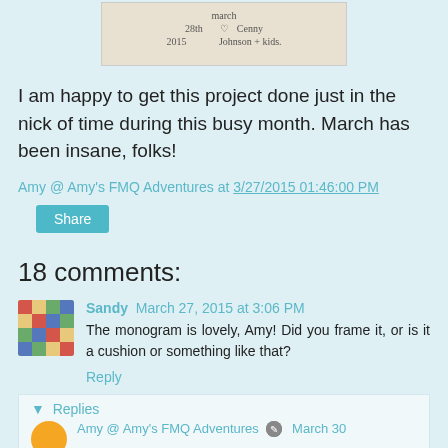[Figure (photo): Handwritten inscription on fabric or paper: 'march 28th 2015 ♡ Cenny Johnson + kids.']
I am happy to get this project done just in the nick of time during this busy month. March has been insane, folks!
Amy @ Amy's FMQ Adventures at 3/27/2015 01:46:00 PM
Share
18 comments:
Sandy March 27, 2015 at 3:06 PM
The monogram is lovely, Amy! Did you frame it, or is it a cushion or something like that?
Reply
▼ Replies
Amy @ Amy's FMQ Adventures   March 30